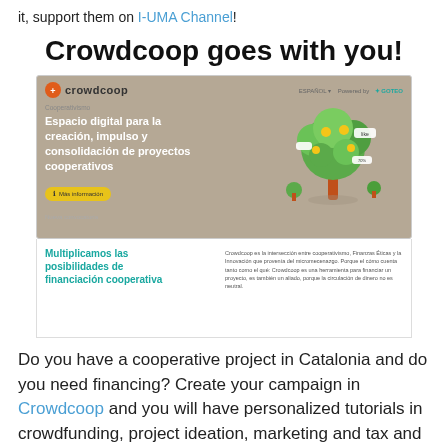it, support them on I-UMA Channel!
Crowdcoop goes with you!
[Figure (screenshot): Screenshot of the Crowdcoop website showing: logo, header 'Espacio digital para la creación, impulso y consolidación de proyectos cooperativos', a button 'Más información', and a 3D tree illustration. Below: 'Multiplicamos las posibilidades de financiación cooperativa' in teal, and descriptive text in Spanish about Crowdcoop.]
Do you have a cooperative project in Catalonia and do you need financing? Create your campaign in Crowdcoop and you will have personalized tutorials in crowdfunding, project ideation, marketing and tax and labor advice. It's a great opportunity, take advantage of it!